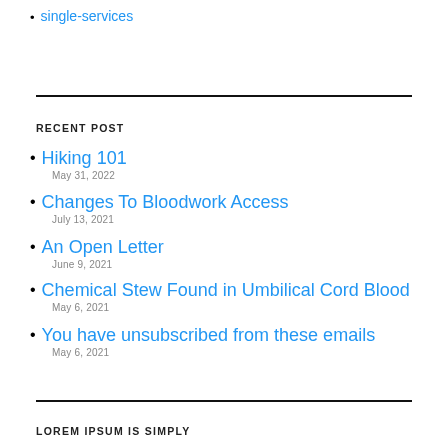single-services
RECENT POST
Hiking 101
May 31, 2022
Changes To Bloodwork Access
July 13, 2021
An Open Letter
June 9, 2021
Chemical Stew Found in Umbilical Cord Blood
May 6, 2021
You have unsubscribed from these emails
May 6, 2021
LOREM IPSUM IS SIMPLY